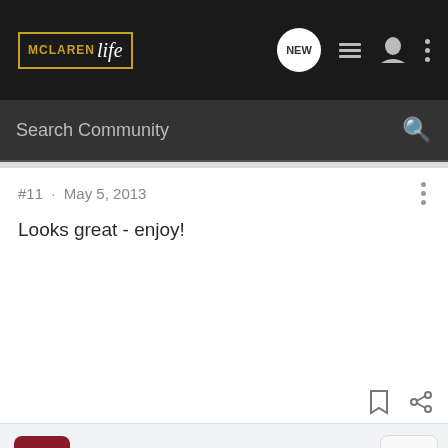McLaren Life · Search Community
#11 · May 5, 2013
Looks great - enjoy!
noone1 · Registered 🇺🇸
Joined Mar 24, 2013 · 2,773 Posts
#12 · May 5, 2013